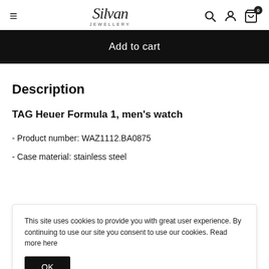Silvan Jewellery — navigation header with hamburger menu, logo, search, account, and cart icons
Add to cart
Description
TAG Heuer Formula 1, men's watch
- Product number: WAZ1112.BA0875
- Case material: stainless steel
This site uses cookies to provide you with great user experience. By continuing to use our site you consent to use our cookies. Read more here
- Band colour: silver